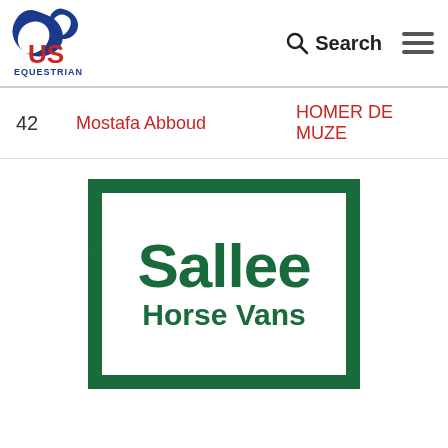[Figure (logo): US Equestrian logo with horse head, blue swoosh, red US text, and EQUESTRIAN text below]
| # | Rider | Horse |
| --- | --- | --- |
| 42 | Mostafa Abboud | HOMER DE MUZE |
[Figure (logo): Sallee Horse Vans sponsor advertisement logo in dark green inside a green bordered box]